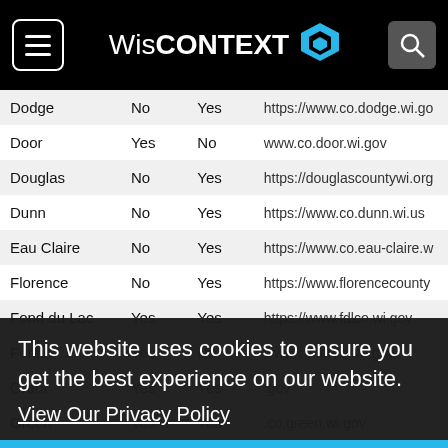WisCONTEXT
| County | Col2 | Col3 | URL |
| --- | --- | --- | --- |
| Dodge | No | Yes | https://www.co.dodge.wi.go |
| Door | Yes | No | www.co.door.wi.gov |
| Douglas | No | Yes | https://douglascountywi.org |
| Dunn | No | Yes | https://www.co.dunn.wi.us |
| Eau Claire | No | Yes | https://www.co.eau-claire.w |
| Florence | No | Yes | https://www.florencecounty |
| Fond du Lac | Yes | Yes | https://www.fdlco.wi.gov |
| Forest | Yes | No | www.co.forest.wi.gov |
| Grant | Yes | Yes | .gov |
| Green | Yes | Yes | .co.green.wi.gov |
| Green Lake | No | Yes | https://www.co.green-lake.w |
| Iowa | No | Yes | https://www.iowacounty.org |
| Iron | Yes | Yes | ov |
| Jackson | No | Yes | https://www.co.jackson.wi.u |
| Jefferson | Yes | Yes | https://www.jeffersoncounty |
This website uses cookies to ensure you get the best experience on our website.
View Our Privacy Policy
Got it!